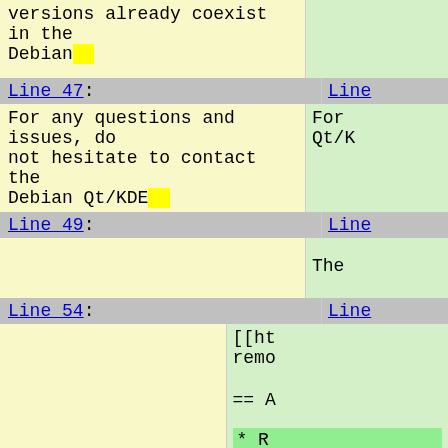versions already coexist in the Debian
Line 47:
For any questions and issues, do not hesitate to contact the Debian Qt/KDE
Line
For Qt/K
Line 49:
Line
The
Line 54:
Line
[[ht remo
== A
* R
* R
nee
* R